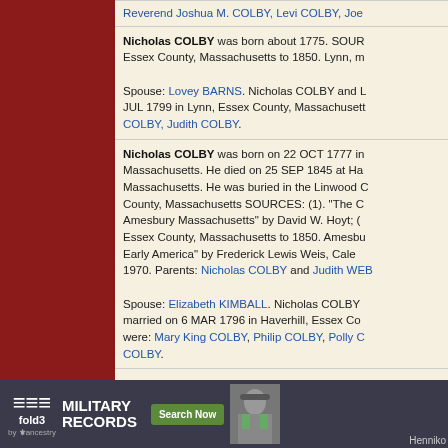Reverend Joshua M. COLBY, Levi COLBY, Joe...
Nicholas COLBY was born about 1775. SOURCES: Essex County, Massachusetts to 1850. Lynn, m...
Spouse: Lovey BARNS. Nicholas COLBY and L... JUL 1799 in Lynn, Essex County, Massachusetts... COLBY, Judith COLBY.
Nicholas COLBY was born on 22 OCT 1777 in... Massachusetts. He died on 25 SEP 1845 at Ha... Massachusetts. He was buried in the Linwood C... County, Massachusetts SOURCES: (1). "The C... Amesbury Massachusetts" by David W. Hoyt; (... Essex County, Massachusetts to 1850. Amesbur... Early America" by Frederick Lewis Weis, Caled... 1970. Parents: Nicholas COLBY and Judith WEB...
Spouse: Elizabeth KIMBALL. Nicholas COLBY... married on 6 MAR 1796 in Haverhill, Essex Co... were: Mary King COLBY, Philip COLBY, Polly C... COLBY.
[Figure (other): fold3 by Ancestry military records advertisement banner with Search Now button and soldier photo]